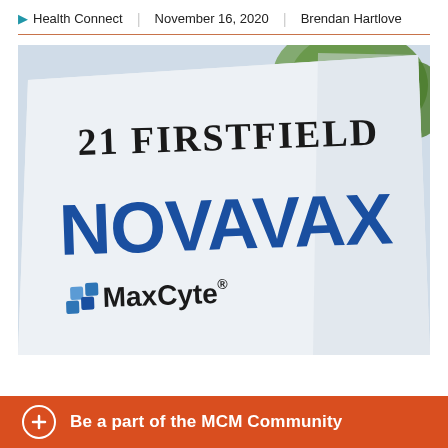Health Connect | November 16, 2020 | Brendan Hartlove
[Figure (photo): Outdoor signage showing '21 FIRSTFIELD' at top in black serif text, 'NOVAVAX' in large blue letters, and 'MaxCyte' logo below, with trees visible in background.]
Be a part of the MCM Community